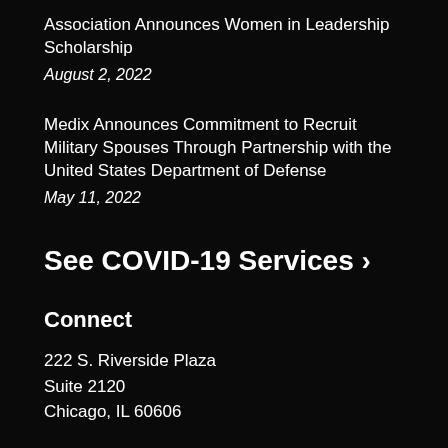Association Announces Women in Leadership Scholarship
August 2, 2022
Medix Announces Commitment to Recruit Military Spouses Through Partnership with the United States Department of Defense
May 11, 2022
See COVID-19 Services ›
Connect
222 S. Riverside Plaza
Suite 2120
Chicago, IL 60606